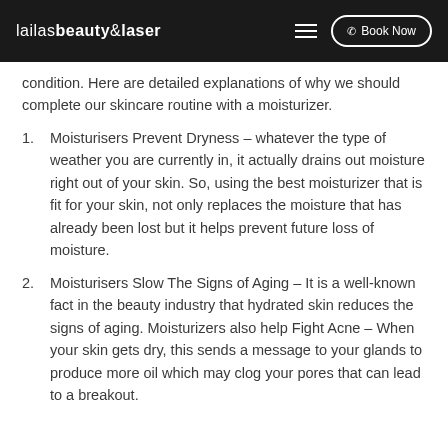lailasbeauty&laser  ☰  Book Now
condition. Here are detailed explanations of why we should complete our skincare routine with a moisturizer.
Moisturisers Prevent Dryness – whatever the type of weather you are currently in, it actually drains out moisture right out of your skin. So, using the best moisturizer that is fit for your skin, not only replaces the moisture that has already been lost but it helps prevent future loss of moisture.
Moisturisers Slow The Signs of Aging – It is a well-known fact in the beauty industry that hydrated skin reduces the signs of aging. Moisturizers also help Fight Acne – When your skin gets dry, this sends a message to your glands to produce more oil which may clog your pores that can lead to a breakout.